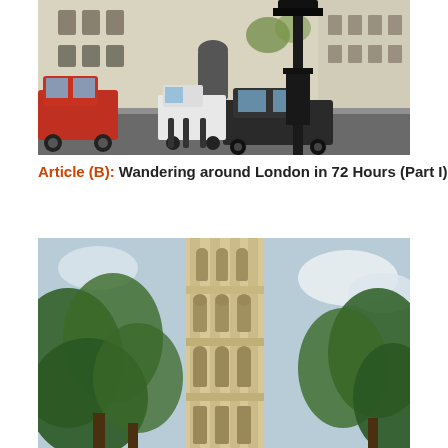[Figure (photo): Street-level photograph of a grand white classical/Gothic stone building in London, with a red taxi cab on the left, a black car in the middle, a large ornate black cast-iron lamp post in the foreground right, and other vehicles and pedestrians visible along the street.]
Article (B): Wandering around London in 72 Hours (Part I)
[Figure (photo): Photograph of a tall Gothic tower (likely Victoria Tower at the Palace of Westminster/Houses of Parliament) viewed through green trees with a bright sky and some clouds in the background.]